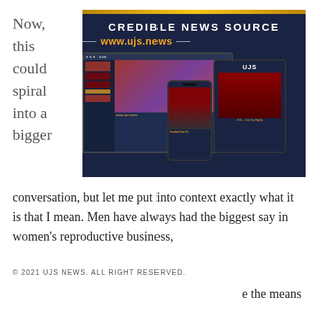Now, this could spiral into a bigger
[Figure (screenshot): Screenshot of UJS News website shown on laptop, tablet, and phone devices. Header reads 'CREDIBLE NEWS SOURCE' and 'www.ujs.news' in orange on dark navy background. The website shows news articles with sports images.]
conversation, but let me put into context exactly what it is that I mean. Men have always had the biggest say in women's reproductive business,
© 2021 UJS NEWS. ALL RIGHT RESERVED.
e the means